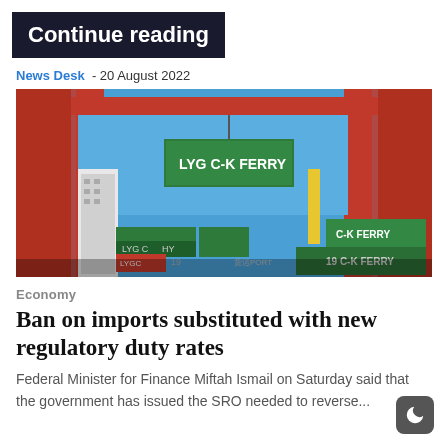Continue reading
News Desk - 20 August 2022
[Figure (photo): Port crane lifting a shipping container labeled LYG C-K FERRY, with stacked shipping containers and a ship visible in the background]
Economy
Ban on imports substituted with new regulatory duty rates
Federal Minister for Finance Miftah Ismail on Saturday said that the government has issued the SRO needed to reverse...